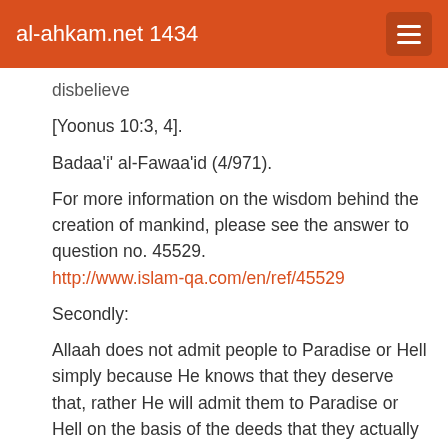al-ahkam.net 1434
disbelieve
[Yoonus 10:3, 4].
Badaa'i' al-Fawaa'id (4/971).
For more information on the wisdom behind the creation of mankind, please see the answer to question no. 45529.
http://www.islam-qa.com/en/ref/45529
Secondly:
Allaah does not admit people to Paradise or Hell simply because He knows that they deserve that, rather He will admit them to Paradise or Hell on the basis of the deeds that they actually did in this world. If Allaah created mankind and put them in His Hell, they would soon argue that He did not test